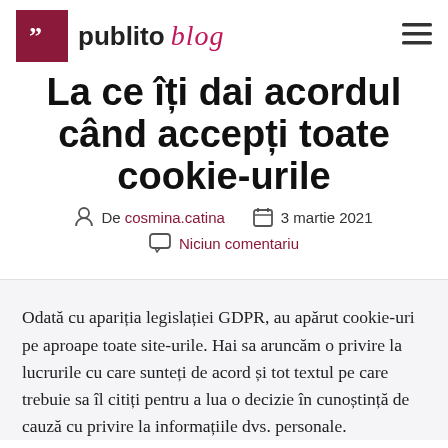publito blog
La ce îți dai acordul când accepți toate cookie-urile
De cosmina.catina   3 martie 2021   Niciun comentariu
Odată cu apariția legislației GDPR, au apărut cookie-uri pe aproape toate site-urile. Hai sa aruncăm o privire la lucrurile cu care sunteți de acord și tot textul pe care trebuie sa îl citiți pentru a lua o decizie în cunoștință de cauză cu privire la informațiile dvs. personale.